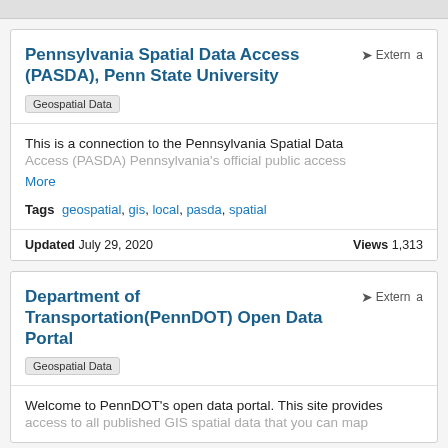Pennsylvania Spatial Data Access (PASDA), Penn State University
External
Geospatial Data
This is a connection to the Pennsylvania Spatial Data Access (PASDA) Pennsylvania's official public access
More
Tags  geospatial, gis, local, pasda, spatial
Updated July 29, 2020    Views 1,313
Department of Transportation(PennDOT) Open Data Portal
External
Geospatial Data
Welcome to PennDOT's open data portal. This site provides access to all published GIS spatial data that you can map